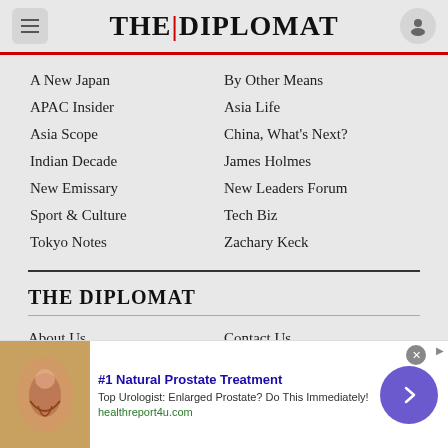THE DIPLOMAT
A New Japan
By Other Means
APAC Insider
Asia Life
Asia Scope
China, What's Next?
Indian Decade
James Holmes
New Emissary
New Leaders Forum
Sport & Culture
Tech Biz
Tokyo Notes
Zachary Keck
THE DIPLOMAT
About Us
Contact Us
[Figure (infographic): Advertisement banner for #1 Natural Prostate Treatment from healthreport4u.com with anatomical image and navigation arrow]